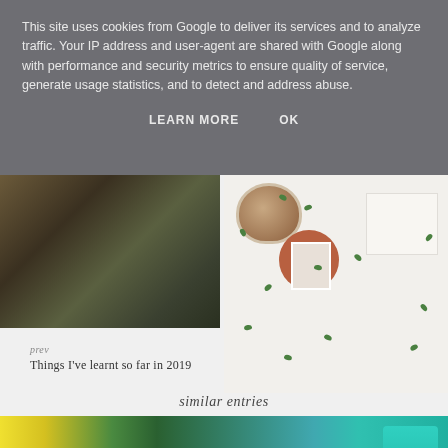This site uses cookies from Google to deliver its services and to analyze traffic. Your IP address and user-agent are shared with Google along with performance and security metrics to ensure quality of service, generate usage statistics, and to detect and address abuse.
LEARN MORE   OK
[Figure (photo): Trees and foliage in a outdoor forest setting]
[Figure (photo): Coffee cup, polaroid photo on plate, heart card, surrounded by green leaves on a white background]
prev
Things I've learnt so far in 2019
similar entries
[Figure (photo): Yellow flowers, green leaves, teal/turquoise reusable cups on a white background]